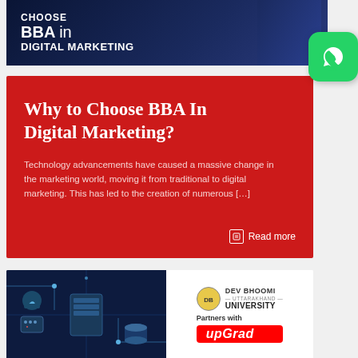[Figure (illustration): Dark navy blue banner with white bold text reading CHOOSE BBA in DIGITAL MARKETING with a hand touching digital interface in background]
[Figure (logo): WhatsApp green rounded square icon with white phone/chat symbol]
Why to Choose BBA In Digital Marketing?
Technology advancements have caused a massive change in the marketing world, moving it from traditional to digital marketing. This has led to the creation of numerous […]
Read more
[Figure (illustration): Digital technology illustration with dark blue circuit board background showing tech icons]
[Figure (logo): Dev Bhoomi Uttarakhand University logo with Partners with upGrad text]